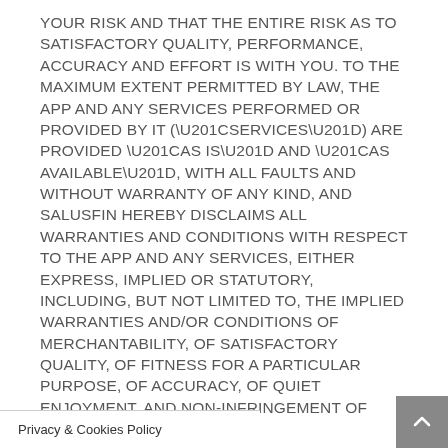YOUR RISK AND THAT THE ENTIRE RISK AS TO SATISFACTORY QUALITY, PERFORMANCE, ACCURACY AND EFFORT IS WITH YOU. TO THE MAXIMUM EXTENT PERMITTED BY LAW, THE APP AND ANY SERVICES PERFORMED OR PROVIDED BY IT (“SERVICES”) ARE PROVIDED “AS IS” AND “AS AVAILABLE”, WITH ALL FAULTS AND WITHOUT WARRANTY OF ANY KIND, AND SALUSFIN HEREBY DISCLAIMS ALL WARRANTIES AND CONDITIONS WITH RESPECT TO THE APP AND ANY SERVICES, EITHER EXPRESS, IMPLIED OR STATUTORY, INCLUDING, BUT NOT LIMITED TO, THE IMPLIED WARRANTIES AND/OR CONDITIONS OF MERCHANTABILITY, OF SATISFACTORY QUALITY, OF FITNESS FOR A PARTICULAR PURPOSE, OF ACCURACY, OF QUIET ENJOYMENT, AND NON-INFRINGEMENT OF
Privacy & Cookies Policy